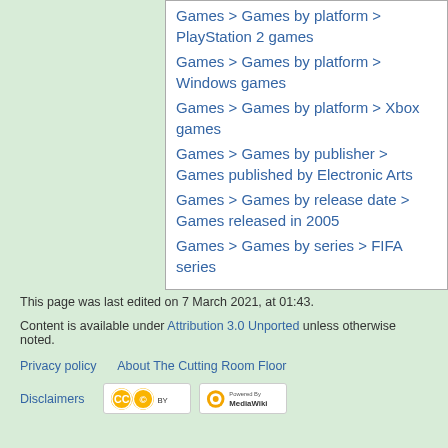Games > Games by platform > PlayStation 2 games
Games > Games by platform > Windows games
Games > Games by platform > Xbox games
Games > Games by publisher > Games published by Electronic Arts
Games > Games by release date > Games released in 2005
Games > Games by series > FIFA series
This page was last edited on 7 March 2021, at 01:43.
Content is available under Attribution 3.0 Unported unless otherwise noted.
Privacy policy   About The Cutting Room Floor
Disclaimers